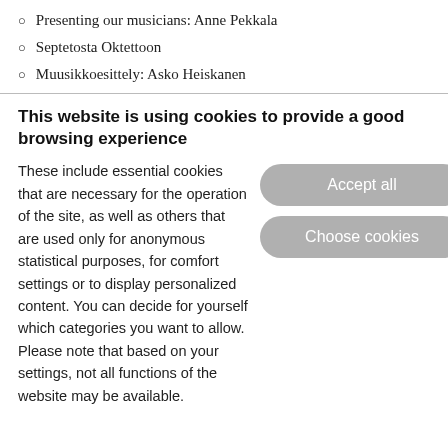Presenting our musicians: Anne Pekkala
Septetosta Oktettoon
Muusikkoesittely: Asko Heiskanen
This website is using cookies to provide a good browsing experience
These include essential cookies that are necessary for the operation of the site, as well as others that are used only for anonymous statistical purposes, for comfort settings or to display personalized content. You can decide for yourself which categories you want to allow. Please note that based on your settings, not all functions of the website may be available.
Accept all
Choose cookies